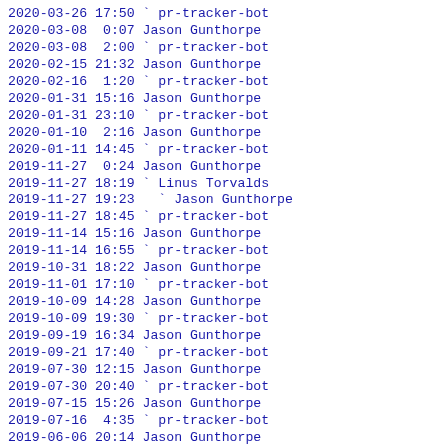2020-03-26 17:50 ` pr-tracker-bot
2020-03-08  0:07 Jason Gunthorpe
2020-03-08  2:00 ` pr-tracker-bot
2020-02-15 21:32 Jason Gunthorpe
2020-02-16  1:20 ` pr-tracker-bot
2020-01-31 15:16 Jason Gunthorpe
2020-01-31 23:10 ` pr-tracker-bot
2020-01-10  2:16 Jason Gunthorpe
2020-01-11 14:45 ` pr-tracker-bot
2019-11-27  0:24 Jason Gunthorpe
2019-11-27 18:19 ` Linus Torvalds
2019-11-27 19:23   ` Jason Gunthorpe
2019-11-27 18:45 ` pr-tracker-bot
2019-11-14 15:16 Jason Gunthorpe
2019-11-14 16:55 ` pr-tracker-bot
2019-10-31 18:22 Jason Gunthorpe
2019-11-01 17:10 ` pr-tracker-bot
2019-10-09 14:28 Jason Gunthorpe
2019-10-09 19:30 ` pr-tracker-bot
2019-09-19 16:34 Jason Gunthorpe
2019-09-21 17:40 ` pr-tracker-bot
2019-07-30 12:15 Jason Gunthorpe
2019-07-30 20:40 ` pr-tracker-bot
2019-07-15 15:26 Jason Gunthorpe
2019-07-16  4:35 ` pr-tracker-bot
2019-06-06 20:14 Jason Gunthorpe
2019-06-07 16:45 ` pr-tracker-bot
2019-05-15  0:46 Jason Gunthorpe
2019-05-15  4:05 ` pr-tracker-bot
2019-05-09 13:37 Jason Gunthorpe